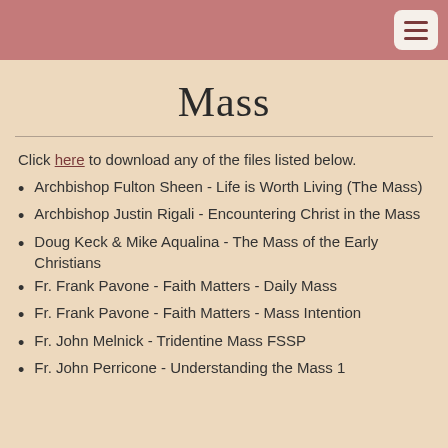Mass
Click here to download any of the files listed below.
Archbishop Fulton Sheen - Life is Worth Living (The Mass)
Archbishop Justin Rigali - Encountering Christ in the Mass
Doug Keck & Mike Aqualina - The Mass of the Early Christians
Fr. Frank Pavone - Faith Matters - Daily Mass
Fr. Frank Pavone - Faith Matters - Mass Intention
Fr. John Melnick - Tridentine Mass FSSP
Fr. John Perricone - Understanding the Mass 1